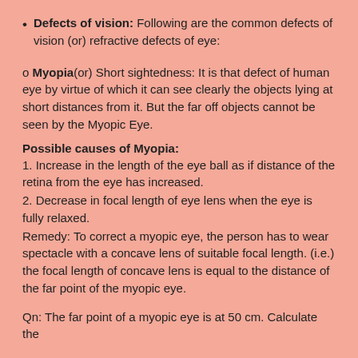Defects of vision: Following are the common defects of vision (or) refractive defects of eye:
o Myopia(or) Short sightedness: It is that defect of human eye by virtue of which it can see clearly the objects lying at short distances from it. But the far off objects cannot be seen by the Myopic Eye.
Possible causes of Myopia:
1. Increase in the length of the eye ball as if distance of the retina from the eye has increased.
2. Decrease in focal length of eye lens when the eye is fully relaxed.
Remedy: To correct a myopic eye, the person has to wear spectacle with a concave lens of suitable focal length. (i.e.) the focal length of concave lens is equal to the distance of the far point of the myopic eye.
Qn: The far point of a myopic eye is at 50 cm. Calculate the